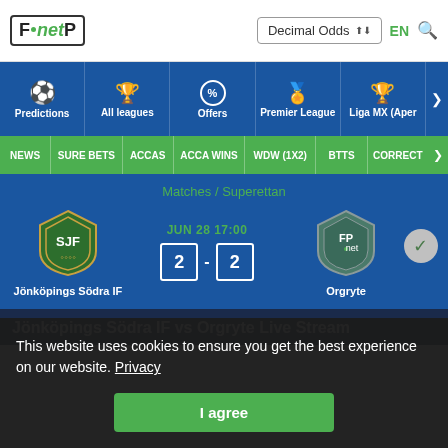FP.net | Decimal Odds | EN
[Figure (screenshot): Website navigation screenshot with blue nav bar showing Predictions, All leagues, Offers, Premier League, Liga MX (Aper) and green sub-nav with NEWS, SURE BETS, ACCAS, ACCA WINS, WDW (1X2), BTTS, CORRECT]
Matches / Superettan
JUN 28 17:00  2 - 2  Jönköpings Södra IF vs Orgryte
Jönköpings Södra IF vs Orgryte Live Stream
This website uses cookies to ensure you get the best experience on our website. Privacy
I agree